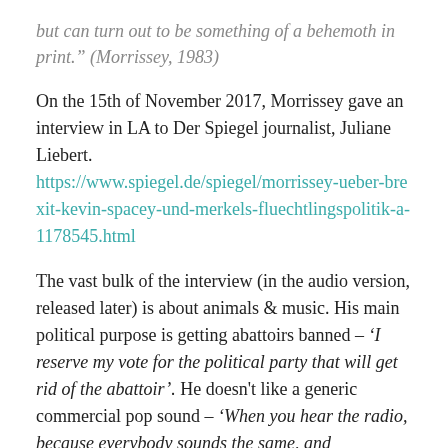but can turn out to be something of a behemoth in print." (Morrissey, 1983)
On the 15th of November 2017, Morrissey gave an interview in LA to Der Spiegel journalist, Juliane Liebert. https://www.spiegel.de/spiegel/morrissey-ueber-brexit-kevin-spacey-und-merkels-fluechtlingspolitik-a-1178545.html
The vast bulk of the interview (in the audio version, released later) is about animals & music. His main political purpose is getting abattoirs banned – 'I reserve my vote for the political party that will get rid of the abattoir'. He doesn't like a generic commercial pop sound – 'When you hear the radio, because everybody sounds the same, and